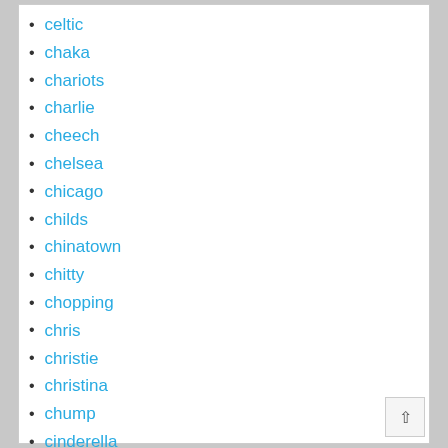celtic
chaka
chariots
charlie
cheech
chelsea
chicago
childs
chinatown
chitty
chopping
chris
christie
christina
chump
cinderella
cindy